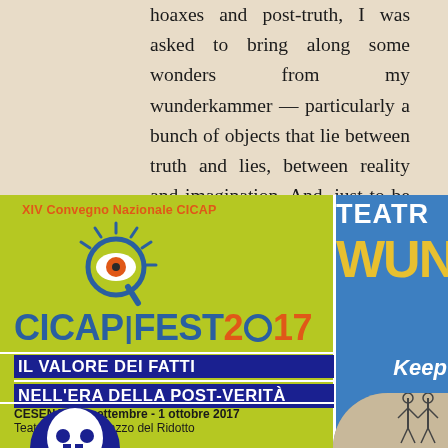hoaxes and post-truth, I was asked to bring along some wonders from my wunderkammer — particularly a bunch of objects that lie between truth and lies, between reality and imagination. And, just to be a bit of a rebel, I will talk about creative hoaxes and fruitful conspiracies.
[Figure (illustration): CICAP Fest 2017 conference poster. Green background with an eye/magnifying glass logo in blue and orange. Text: XIV Convegno Nazionale CICAP, CICAP FEST 2017, IL VALORE DEI FATTI NELL'ERA DELLA POST-VERITÀ, CESENA | 29 settembre - 1 ottobre 2017, Teatro Bonci - Palazzo del Ridotto. Blue strip on right with TEATRO WUN... Keep text. Bottom shows skull illustration and photo.]